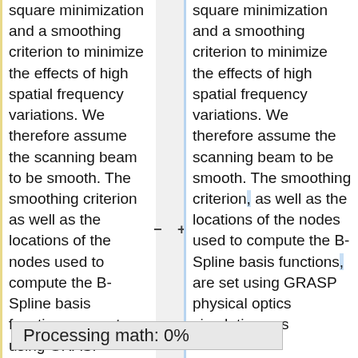square minimization and a smoothing criterion to minimize the effects of high spatial frequency variations. We therefore assume the scanning beam to be smooth. The smoothing criterion as well as the locations of the nodes used to compute the B-Spline basis functions are set using GRASP physical optics simulations as
square minimization and a smoothing criterion to minimize the effects of high spatial frequency variations. We therefore assume the scanning beam to be smooth. The smoothing criterion, as well as the locations of the nodes used to compute the B-Spline basis functions, are set using GRASP physical optics simulations as
Processing math: 0%